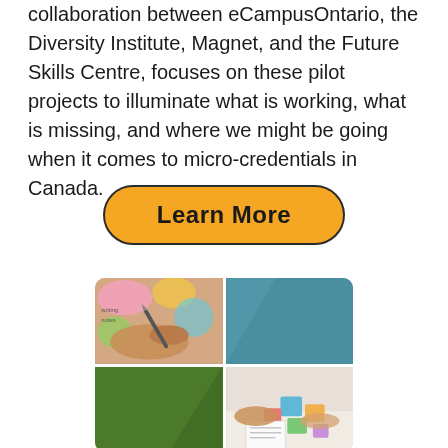collaboration between eCampusOntario, the Diversity Institute, Magnet, and the Future Skills Centre, focuses on these pilot projects to illuminate what is working, what is missing, and where we might be going when it comes to micro-credentials in Canada.
Learn More
[Figure (photo): A 2x2 grid collage: top-left shows hands holding a pen writing/sketching; top-right is a solid teal/steel-blue color block; bottom-left is a solid olive/dark green color block; bottom-right shows hands arranging colorful sticky notes on a surface.]